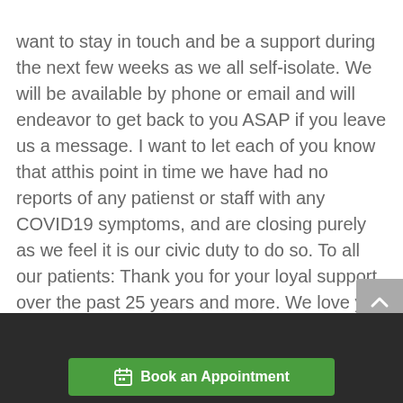want to stay in touch and be a support during the next few weeks as we all self-isolate. We will be available by phone or email and will endeavor to get back to you ASAP if you leave us a message. I want to let each of you know that atthis point in time we have had no reports of any patienst or staff with any COVID19 symptoms, and are closing purely as we feel it is our civic duty to do so. To all our patients: Thank you for your loyal support over the past 25 years and more. We love you and look forward to seeing you soon. Take care of each other, and be well.
Book an Appointment